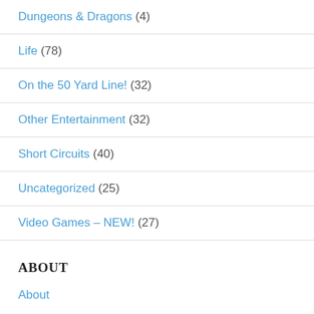Dungeons & Dragons (4)
Life (78)
On the 50 Yard Line! (32)
Other Entertainment (32)
Short Circuits (40)
Uncategorized (25)
Video Games – NEW! (27)
ABOUT
About